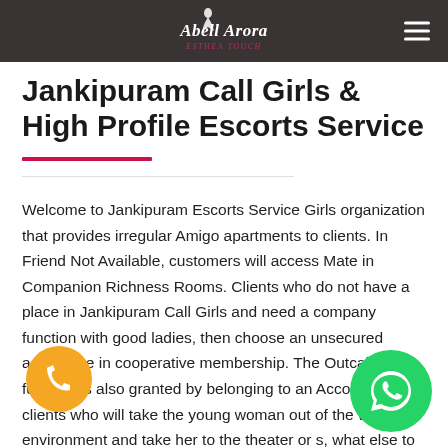Abell Arora
Jankipuram Call Girls & High Profile Escorts Service
Welcome to Jankipuram Escorts Service Girls organization that provides irregular Amigo apartments to clients. In Friend Not Available, customers will access Mate in Companion Richness Rooms. Clients who do not have a place in Jankipuram Call Girls and need a company function with good ladies, then choose an unsecured advantage in cooperative membership. The Outcall Mate function is also granted by belonging to an Accomplice, clients who will take the young woman out of the work environment and take her to the theater or s, what else to take off to events and then the young woman to stay for The partner advantage to the full pleasure of the young ladies is...